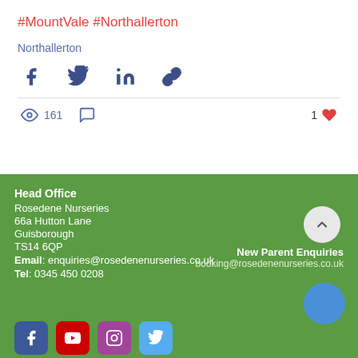#MountVale #Northallerton
Northallerton
[Figure (infographic): Social share icons: Facebook, Twitter, LinkedIn, link/chain]
161 views, comment icon, 1 like
Head Office
Rosedene Nurseries
66a Hutton Lane
Guisborough
TS14 6QP
Email: enquiries@rosedenenurseries.co.uk
Tel: 0345 450 0208
New Parent Enquiries
booking@rosedenenurseries.co.uk
[Figure (infographic): Social media icons row: Facebook, YouTube, Instagram, Twitter]